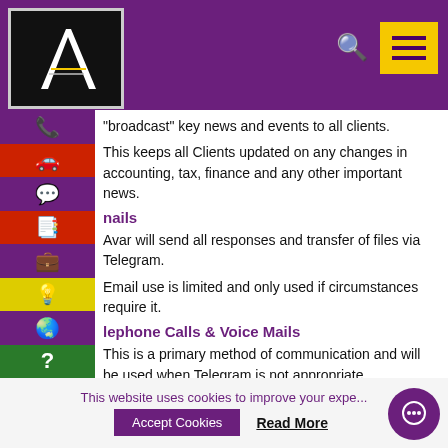"broadcast" key news and events to all clients.
This keeps all Clients updated on any changes in accounting, tax, finance and any other important news.
nails
Avar will send all responses and transfer of files via Telegram.
Email use is limited and only used if circumstances require it.
lephone Calls & Voice Mails
This is a primary method of communication and will be used when Telegram is not appropriate.
All telephone calls are recorded.
Links to Telephone Conversation Recordings (TCR) will be sent to you at the discretion of Avar or upon request by you.
There will be a charge of £100 + VAT for each TCR.
This website uses cookies to improve your expe...